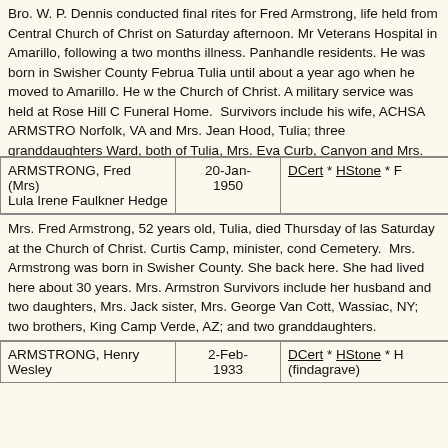Bro. W. P. Dennis conducted final rites for Fred Armstrong, life held from Central Church of Christ on Saturday afternoon. Mr Veterans Hospital in Amarillo, following a two months illness. Panhandle residents. He was born in Swisher County Februa Tulia until about a year ago when he moved to Amarillo. He w the Church of Christ. A military service was held at Rose Hill C Funeral Home.  Survivors include his wife, ACHSA ARMSTRO Norfolk, VA and Mrs. Jean Hood, Tulia; three granddaughters Ward, both of Tulia, Mrs. Eva Curb, Canyon and Mrs. Ethel M Armstrong of Happy and Harrison Armstrong, Ft. Sumner, NM
| Name | Date | Links |
| --- | --- | --- |
| ARMSTRONG, Fred (Mrs)
Lula Irene Faulkner Hedge | 20-Jan-1950 | DCert * HStone * F |
Mrs. Fred Armstrong, 52 years old, Tulia, died Thursday of las Saturday at the Church of Christ. Curtis Camp, minister, cond Cemetery.  Mrs. Armstrong was born in Swisher County. She back here. She had lived here about 30 years. Mrs. Armstron Survivors include her husband and two daughters, Mrs. Jack sister, Mrs. George Van Cott, Wassiac, NY; two brothers, King Camp Verde, AZ; and two granddaughters.
| Name | Date | Links |
| --- | --- | --- |
| ARMSTRONG, Henry Wesley | 2-Feb-1933 | DCert * HStone * H (findagrave) |